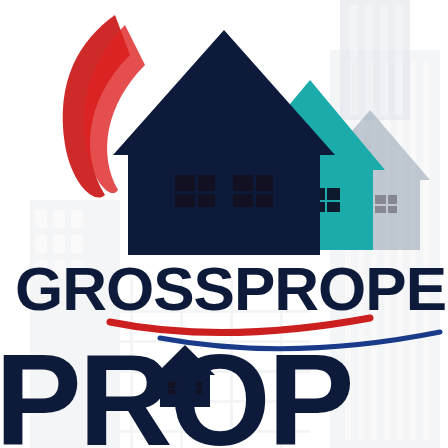[Figure (logo): GrossProperty logo featuring three layered house silhouettes in dark navy, teal, and gray with windows, a red swoosh/flame on the left, red and blue swoosh lines beneath the company name, text GROSSPROPERTY in dark navy bold, and large PROP text at the bottom in dark navy bold. Background shows faint gray building/scaffolding silhouette.]